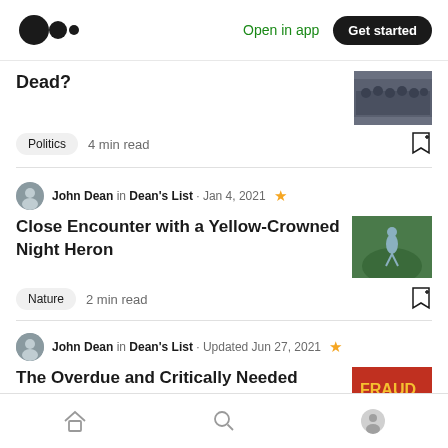Medium logo | Open in app | Get started
Dead?
Politics  4 min read
John Dean in Dean's List · Jan 4, 2021 ★
Close Encounter with a Yellow-Crowned Night Heron
Nature  2 min read
John Dean in Dean's List · Updated Jun 27, 2021 ★
The Overdue and Critically Needed Trump Indictments